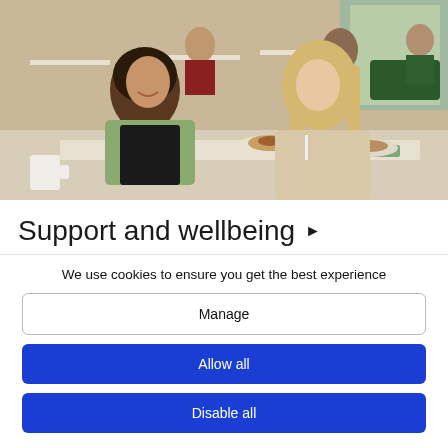[Figure (photo): Two young women sitting at a table in a cafeteria or dining area, smiling and having a conversation. One has dark curly hair and holds a white mug; the other has long blonde hair. There are pastries on plates on the table. Other students are visible in the background.]
Support and wellbeing ▶
We use cookies to ensure you get the best experience
Manage
Allow all
Disable all